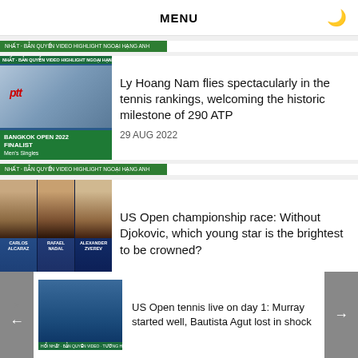MENU
[Figure (photo): Bangkok Open 2022 Finalist Men's Singles thumbnail with PTT logo]
Ly Hoang Nam flies spectacularly in the tennis rankings, welcoming the historic milestone of 290 ATP
29 AUG 2022
[Figure (photo): Three tennis players: Carlos Alcaraz, Rafael Nadal, Alexander Zverev]
US Open championship race: Without Djokovic, which young star is the brightest to be crowned?
[Figure (photo): Andy Murray playing tennis]
US Open tennis live on day 1: Murray started well, Bautista Agut lost in shock